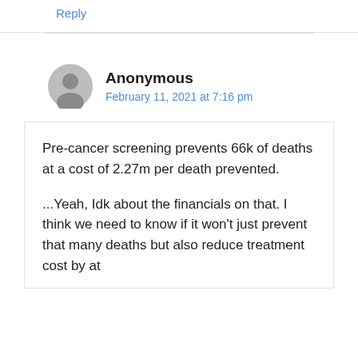Reply
Anonymous
February 11, 2021 at 7:16 pm
Pre-cancer screening prevents 66k of deaths at a cost of 2.27m per death prevented.

...Yeah, Idk about the financials on that. I think we need to know if it won't just prevent that many deaths but also reduce treatment cost by at